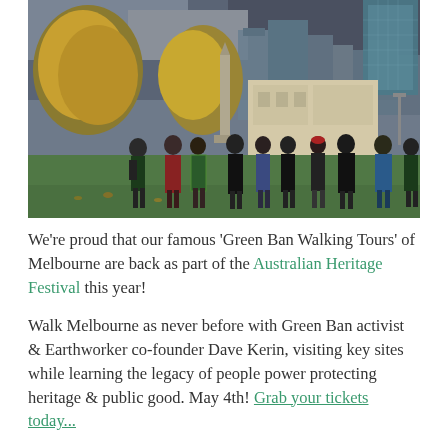[Figure (photo): Outdoor photo of a group of people gathered in a park with autumn trees, a monument/obelisk in the centre background, and Melbourne city buildings including skyscrapers visible in the background under a cloudy sky.]
We're proud that our famous 'Green Ban Walking Tours' of Melbourne are back as part of the Australian Heritage Festival this year!
Walk Melbourne as never before with Green Ban activist & Earthworker co-founder Dave Kerin, visiting key sites while learning the legacy of people power protecting heritage & public good. May 4th! Grab your tickets today...